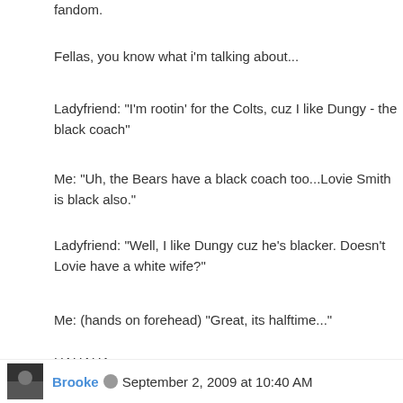fandom.
Fellas, you know what i'm talking about...
Ladyfriend: "I'm rootin' for the Colts, cuz I like Dungy - the black coach"
Me: "Uh, the Bears have a black coach too...Lovie Smith is black also."
Ladyfriend: "Well, I like Dungy cuz he's blacker. Doesn't Lovie have a white wife?"
Me: (hands on forehead) "Great, its halftime..."
HAHAHA
DMoe
Reply
Brooke  September 2, 2009 at 10:40 AM